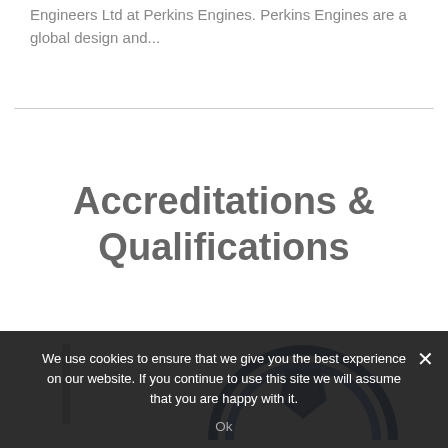Engineers Ltd at Perkins Engines. Perkins Engines are a global design and...
Accreditations & Qualifications
[Figure (logo): Partial view of a blue circular badge/logo with shield emblem and registered trademark symbol, plus a grey vertical bar on the left side]
We use cookies to ensure that we give you the best experience on our website. If you continue to use this site we will assume that you are happy with it.
Ok